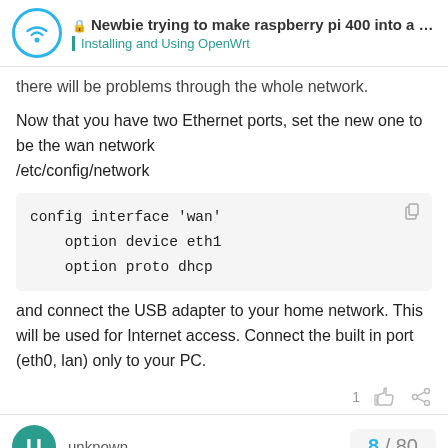Newbie trying to make raspberry pi 400 into a ... — Installing and Using OpenWrt
there will be problems through the whole network.
Now that you have two Ethernet ports, set the new one to be the wan network
/etc/config/network
and connect the USB adapter to your home network. This will be used for Internet access. Connect the built in port (eth0, lan) only to your PC.
unknown — 8 / 80